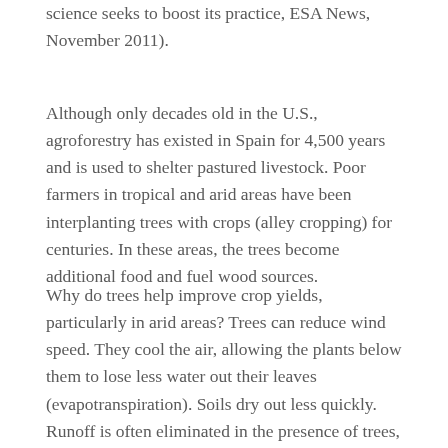science seeks to boost its practice, ESA News, November 2011).
Although only decades old in the U.S., agroforestry has existed in Spain for 4,500 years and is used to shelter pastured livestock. Poor farmers in tropical and arid areas have been interplanting trees with crops (alley cropping) for centuries. In these areas, the trees become additional food and fuel wood sources.
Why do trees help improve crop yields, particularly in arid areas? Trees can reduce wind speed. They cool the air, allowing the plants below them to lose less water out their leaves (evapotranspiration). Soils dry out less quickly. Runoff is often eliminated in the presence of trees, and water infiltrates into the ground. Erosion and sediment loss drops significantly.